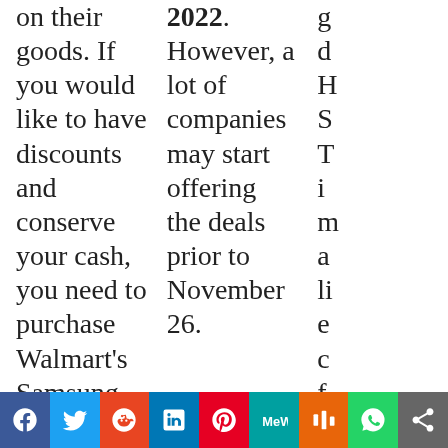on their goods. If you would like to have discounts and conserve your cash, you need to purchase Walmart's Samsung TV during the Black Friday sale.
2022. However, a lot of companies may start offering the deals prior to November 26.
g... d... H... S... T... i... m... a... li... e... c... f... q... p... T... n... a...
[Figure (infographic): Social media sharing bar with icons: Facebook, Twitter, Reddit, LinkedIn, Pinterest, MeWe, Mix, WhatsApp, Share]